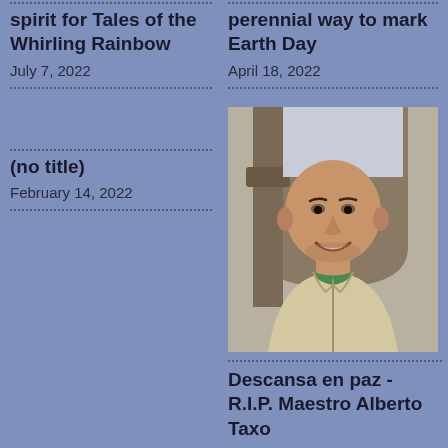spirit for Tales of the Whirling Rainbow
July 7, 2022
perennial way to mark Earth Day
April 18, 2022
(no title)
February 14, 2022
[Figure (photo): Portrait photo of a bald, smiling man of Latin American appearance, wearing a cream/beige zip-up jacket over a green shirt, photographed outdoors near ornate stone architecture]
Descansa en paz - R.I.P. Maestro Alberto Taxo